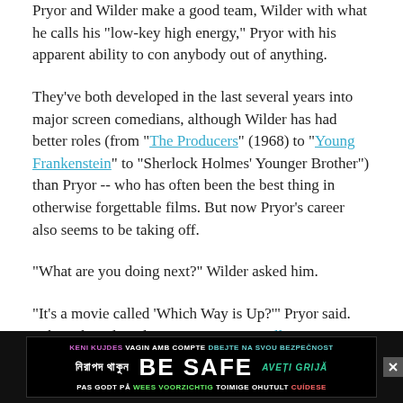Pryor and Wilder make a good team, Wilder with what he calls his "low-key high energy," Pryor with his apparent ability to con anybody out of anything.
They've both developed in the last several years into major screen comedians, although Wilder has had better roles (from "The Producers" (1968) to "Young Frankenstein" to "Sherlock Holmes' Younger Brother") than Pryor -- who has often been the best thing in otherwise forgettable films. But now Pryor's career also seems to be taking off.
"What are you doing next?" Wilder asked him.
"It's a movie called 'Which Way is Up?'" Pryor said. "This, uh, Italian director, Lina Wertmuller . . ."
[Figure (other): BE SAFE multilingual advertisement banner with colorful text in multiple languages including Bengali, Catalan, Czech, Norwegian, Dutch, Estonian, Spanish, and Romanian.]